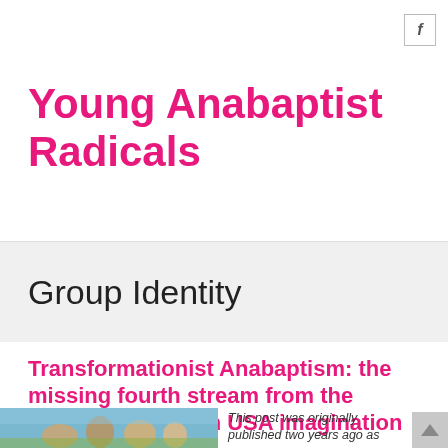f
Young Anabaptist Radicals
Group Identity
Transformationist Anabaptism: the missing fourth stream from the Mennonite Church USA imagination
[Figure (photo): Group of people outdoors, likely young adults, with sky in background]
This post was originally published two years ago as